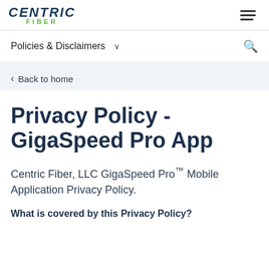CENTRIC FIBER [logo] [hamburger menu]
Policies & Disclaimers ∨ [search icon]
< Back to home
Privacy Policy - GigaSpeed Pro App
Centric Fiber, LLC GigaSpeed Pro™ Mobile Application Privacy Policy.
What is covered by this Privacy Policy?